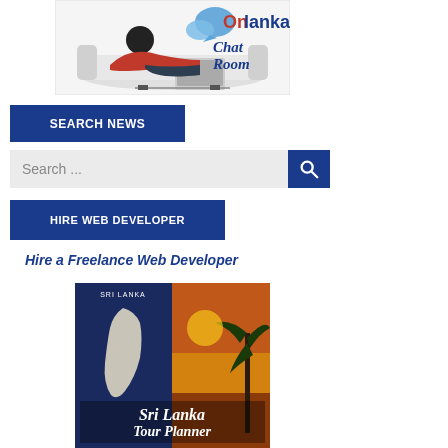[Figure (logo): Onlanka Chat Room logo with a woman lying on a couch with a laptop and blue speech bubbles, text reads 'On' in red, 'lanka' in dark blue, 'Chat Room' in dark blue italic]
SEARCH NEWS
[Figure (screenshot): Search input bar with placeholder text 'Search ...' and a blue magnifying glass search button on the right]
HIRE WEB DEVELOPER
Hire a Freelance Web Developer
[Figure (photo): Sri Lanka Tour Planner image showing a map of Sri Lanka on the left and a tropical beach/palm tree sunset scene on the right, with text 'Sri Lanka Tour Planner']